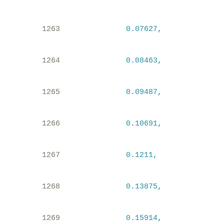1263    0.07627,
1264    0.08463,
1265    0.09487,
1266    0.10691,
1267    0.1211,
1268    0.13875,
1269    0.15914,
1270    0.18432,
1271    0.21371,
1272    0.24946,
1273    0.29243,
1274    0.34457,
1275    0.40639,
1276    0.48043,
1277    0.56785,
1278    0.67445,
1279    0.80308,
1280    0.96045
1281    ],
1282    [
1283    0.03388,